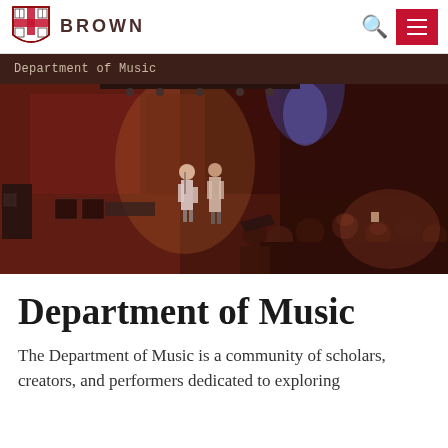BROWN
[Figure (photo): Concert/performance scene showing two performers on a dimly lit red-toned stage with spotlights, and an audience watching from behind]
Department of Music
Department of Music
The Department of Music is a community of scholars, creators, and performers dedicated to exploring